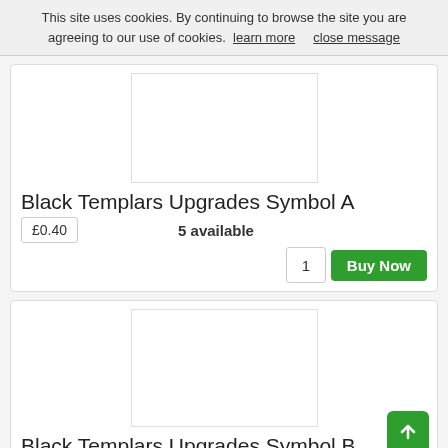This site uses cookies. By continuing to browse the site you are agreeing to our use of cookies.  learn more     close message
[Figure (other): Product image placeholder for Black Templars Upgrades Symbol A]
Black Templars Upgrades Symbol A
£0.40
5 available
1
Buy Now
[Figure (other): Product image placeholder for Black Templars Upgrades Symbol B]
Black Templars Upgrades Symbol B
£0.60
3 available